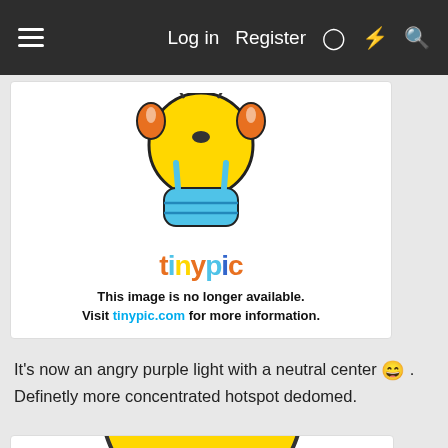≡  Log in  Register  ♡  ⚡  🔍
[Figure (illustration): Tinypic.com placeholder image showing cartoon mascot character with yellow head, orange ears, blue body, with text 'This image is no longer available. Visit tinypic.com for more information.']
It's now an angry purple light with a neutral center 😁 . Definetly more concentrated hotspot dedomed.
[Figure (illustration): Bottom portion of a yellow cartoon smiley face / emoji character, cropped, showing teary eyes, visible at the bottom of the page.]